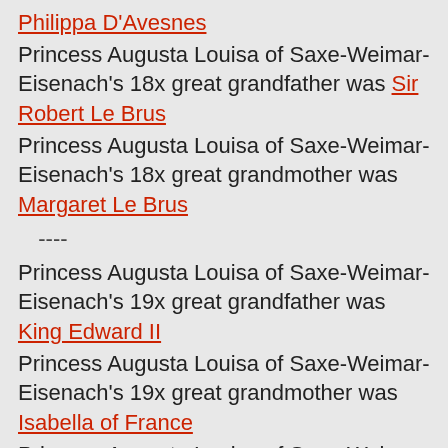Philippa D'Avesnes
Princess Augusta Louisa of Saxe-Weimar-Eisenach's 18x great grandfather was Sir Robert Le Brus
Princess Augusta Louisa of Saxe-Weimar-Eisenach's 18x great grandmother was Margaret Le Brus
----
Princess Augusta Louisa of Saxe-Weimar-Eisenach's 19x great grandfather was King Edward II
Princess Augusta Louisa of Saxe-Weimar-Eisenach's 19x great grandmother was Isabella of France
Princess Augusta Louisa of Saxe-Weimar-Eisenach's 19x great grandfather was Sir